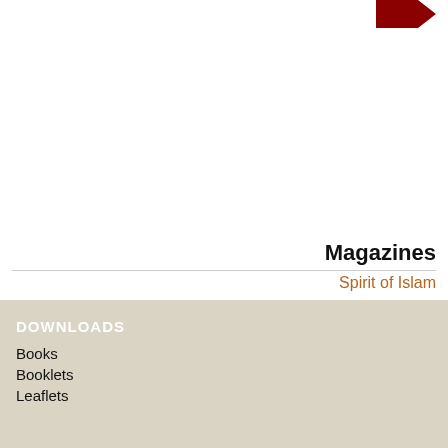[Figure (illustration): Red arrow/chevron shape in top-right corner, partially cropped]
Magazines
Spirit of Islam
Al-Risala
[Figure (other): Dark red 'More' button with right-pointing arrow/chevron shape]
DOWNLOADS
Books
Booklets
Leaflets